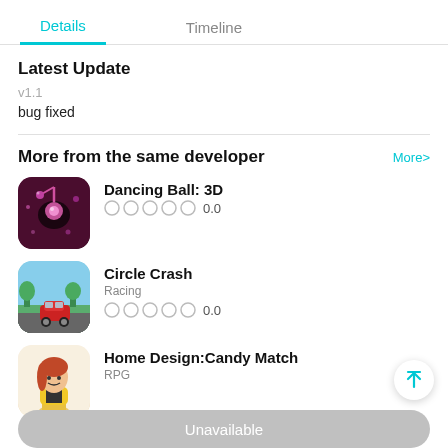Details | Timeline
Latest Update
v1.1
bug fixed
More from the same developer
More>
[Figure (illustration): App icon for Dancing Ball: 3D - dark purple/maroon background with a pink glowing ball]
Dancing Ball: 3D  ☺☺☺☺☺ 0.0
[Figure (illustration): App icon for Circle Crash - blue sky, green ground, red car]
Circle Crash
Racing
☺☺☺☺☺ 0.0
[Figure (illustration): App icon for Home Design:Candy Match - cartoon girl in yellow outfit]
Home Design:Candy Match
RPG
Unavailable